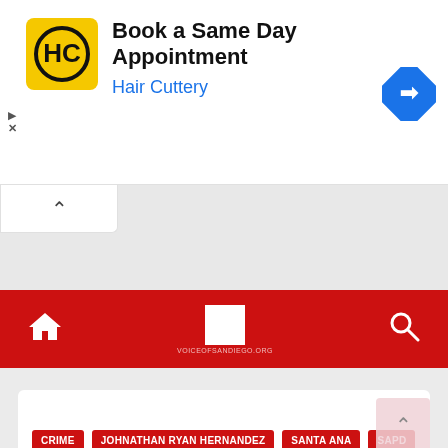[Figure (screenshot): Advertisement banner for Hair Cuttery with logo, text 'Book a Same Day Appointment' and 'Hair Cuttery', and a blue navigation arrow icon on the right.]
[Figure (screenshot): Gray map area with a collapse/chevron tab at top left.]
[Figure (screenshot): Red navigation bar with home icon, white logo box, and search icon.]
[Figure (screenshot): Bottom article card area with tags: CRIME, JOHNATHAN RYAN HERNANDEZ, SANTA ANA, SAPD and a pink scroll-to-top button.]